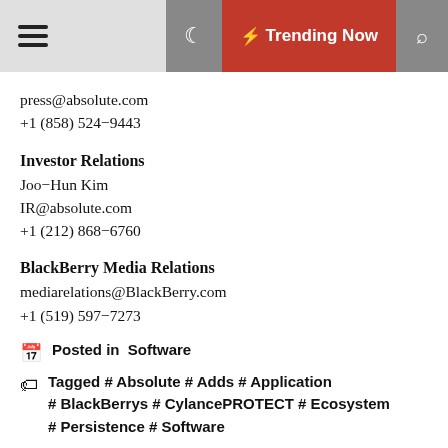☰  🌙  ⚡ Trending Now  🔍
press@absolute.com
+1 (858) 524-9443
Investor Relations
Joo-Hun Kim
IR@absolute.com
+1 (212) 868-6760
BlackBerry Media Relations
mediarelations@BlackBerry.com
+1 (519) 597-7273
Posted in  Software
Tagged # Absolute # Adds # Application # BlackBerrys # CylancePROTECT # Ecosystem # Persistence # Software
nikholas